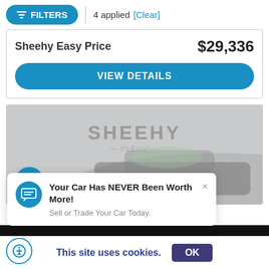FILTERS | 4 applied [Clear]
Sheehy Easy Price $29,336
VIEW DETAILS
[Figure (screenshot): Car dealership photo with Sheehy logo background and vehicle partially visible]
Your Car Has NEVER Been Worth More! Sell or Trade Your Car Today.
This site uses cookies. OK